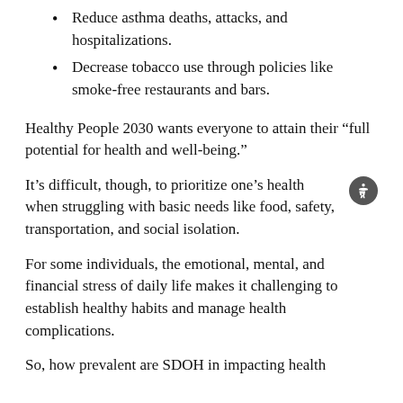Reduce asthma deaths, attacks, and hospitalizations.
Decrease tobacco use through policies like smoke-free restaurants and bars.
Healthy People 2030 wants everyone to attain their “full potential for health and well-being.”
It’s difficult, though, to prioritize one’s health when struggling with basic needs like food, safety, transportation, and social isolation.
For some individuals, the emotional, mental, and financial stress of daily life makes it challenging to establish healthy habits and manage health complications.
So, how prevalent are SDOH in impacting health